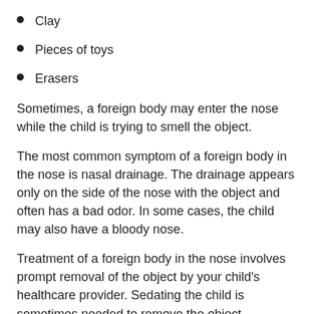Clay
Pieces of toys
Erasers
Sometimes, a foreign body may enter the nose while the child is trying to smell the object.
The most common symptom of a foreign body in the nose is nasal drainage. The drainage appears only on the side of the nose with the object and often has a bad odor. In some cases, the child may also have a bloody nose.
Treatment of a foreign body in the nose involves prompt removal of the object by your child's healthcare provider. Sedating the child is sometimes needed to remove the object successfully. The following are some of the techniques that may be used by your child's healthcare provider to remove the object from the nose: